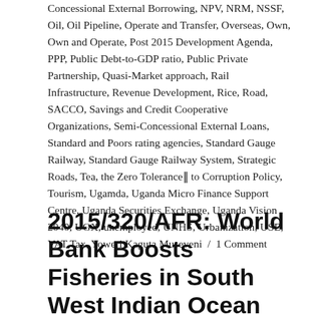Concessional External Borrowing, NPV, NRM, NSSF, Oil, Oil Pipeline, Operate and Transfer, Overseas, Own, Own and Operate, Post 2015 Development Agenda, PPP, Public Debt-to-GDP ratio, Public Private Partnership, Quasi-Market approach, Rail Infrastructure, Revenue Development, Rice, Road, SACCO, Savings and Credit Cooperative Organizations, Semi-Concessional External Loans, Standard and Poors rating agencies, Standard Gauge Railway, Standard Gauge Railway System, Strategic Roads, Tea, the Zero Tolerance‖ to Corruption Policy, Tourism, Ugamda, Uganda Micro Finance Support Centre, Uganda Securities Exchange, Uganda Vision 2040, UGX, unemployed, UNHS, Urbanization, USE, VAT Tax, Yoweri Kaguta Museveni  /  1 Comment
2015/320/AFR: World Bank Boosts Fisheries in South West Indian Ocean African